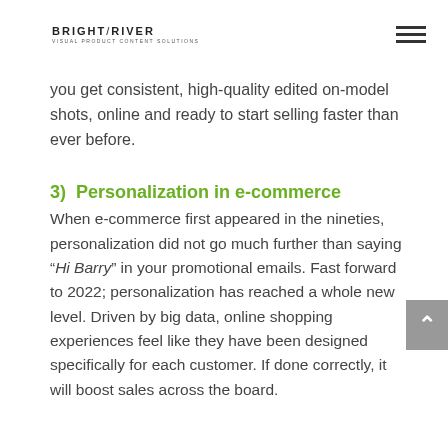BRIGHT/RIVER VISUAL PRODUCT CONTENT SOLUTIONS
you get consistent, high-quality edited on-model shots, online and ready to start selling faster than ever before.
3)  Personalization in e-commerce
When e-commerce first appeared in the nineties, personalization did not go much further than saying “Hi Barry” in your promotional emails. Fast forward to 2022; personalization has reached a whole new level. Driven by big data, online shopping experiences feel like they have been designed specifically for each customer. If done correctly, it will boost sales across the board.